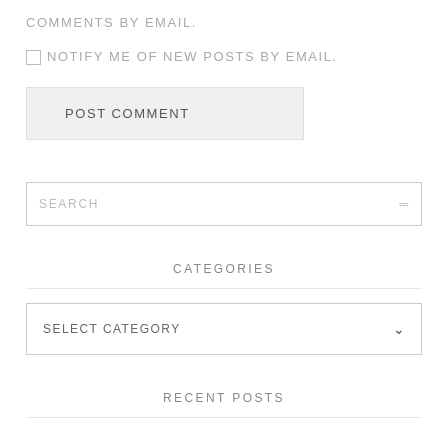COMMENTS BY EMAIL.
☐ NOTIFY ME OF NEW POSTS BY EMAIL.
POST COMMENT
SEARCH
CATEGORIES
SELECT CATEGORY
RECENT POSTS